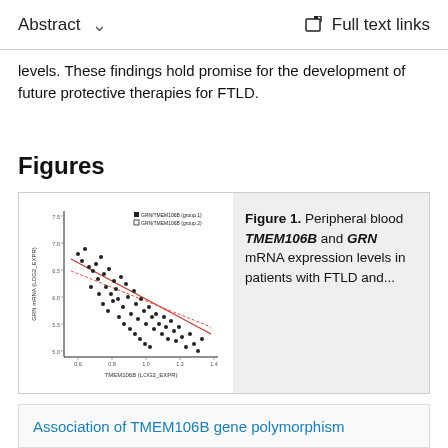Abstract  ∨   Full text links
levels. These findings hold promise for the development of future protective therapies for FTLD.
Figures
[Figure (scatter-plot): Scatter plot showing peripheral blood TMEM106B and GRN mRNA expression levels with regression lines]
Figure 1. Peripheral blood TMEM106B and GRN mRNA expression levels in patients with FTLD and...
Similar articles
Association of TMEM106B gene polymorphism